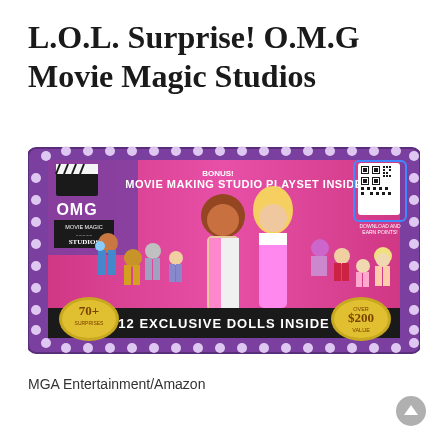L.O.L. Surprise! O.M.G Movie Magic Studios
[Figure (photo): Product box for L.O.L. Surprise! O.M.G Movie Magic Studios showing multiple dolls on a pink and purple box with text 'BONUS! MOVIE MAKING STUDIO PLAYSET INSIDE!', '12 EXCLUSIVE DOLLS INSIDE', '70+ SURPRISES', 'OVER $200 VALUE', and a QR code on the top right.]
MGA Entertainment/Amazon